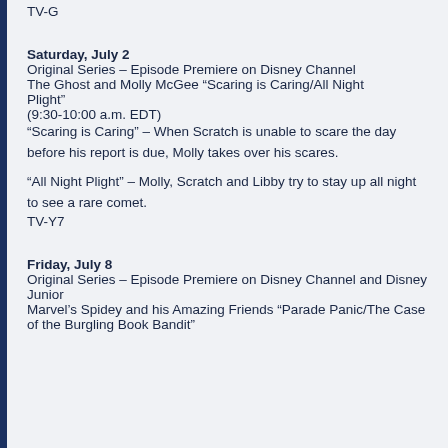TV-G
Saturday, July 2
Original Series – Episode Premiere on Disney Channel
The Ghost and Molly McGee “Scaring is Caring/All Night Plight”
(9:30-10:00 a.m. EDT)
“Scaring is Caring” – When Scratch is unable to scare the day before his report is due, Molly takes over his scares.
“All Night Plight” – Molly, Scratch and Libby try to stay up all night to see a rare comet.
TV-Y7
Friday, July 8
Original Series – Episode Premiere on Disney Channel and Disney Junior
Marvel’s Spidey and his Amazing Friends “Parade Panic/The Case of the Burgling Book Bandit”